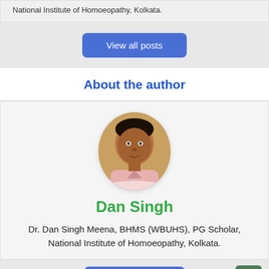National Institute of Homoeopathy, Kolkata.
View all posts
About the author
[Figure (photo): Circular portrait photo of Dr. Dan Singh Meena, a man with dark hair wearing a light pink shirt, against an orange/yellow background.]
Dan Singh
Dr. Dan Singh Meena, BHMS (WBUHS), PG Scholar, National Institute of Homoeopathy, Kolkata.
View all posts